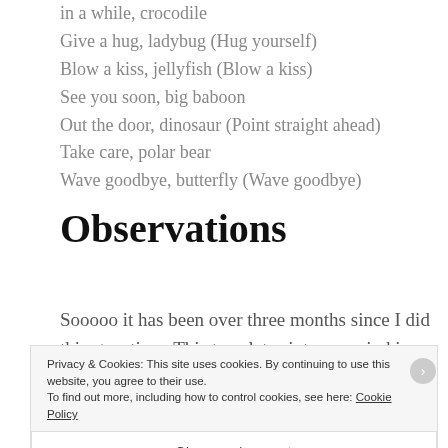in a while, crocodile
Give a hug, ladybug (Hug yourself)
Blow a kiss, jellyfish (Blow a kiss)
See you soon, big baboon
Out the door, dinosaur (Point straight ahead)
Take care, polar bear
Wave goodbye, butterfly (Wave goodbye)
Observations
Sooooo it has been over three months since I did this storytime. This translates into my mind is super
Privacy & Cookies: This site uses cookies. By continuing to use this website, you agree to their use.
To find out more, including how to control cookies, see here: Cookie Policy
Close and accept